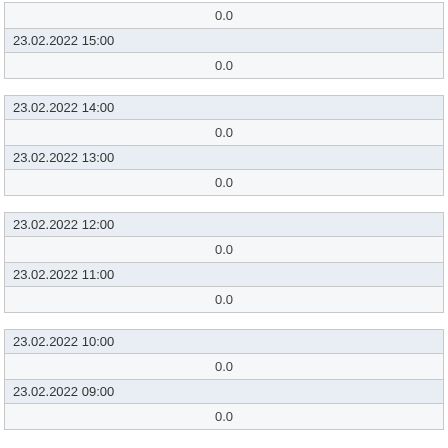|  | 0.0 |
| 23.02.2022 15:00 | 0.0 |
| 23.02.2022 14:00 | 0.0 |
| 23.02.2022 13:00 | 0.0 |
| 23.02.2022 12:00 | 0.0 |
| 23.02.2022 11:00 | 0.0 |
| 23.02.2022 10:00 | 0.0 |
| 23.02.2022 09:00 | 0.0 |